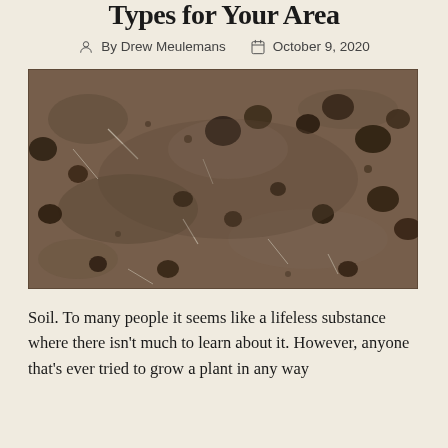Types for Your Area
By Drew Meulemans   October 9, 2020
[Figure (photo): Close-up black and white photograph of soil with small clumps, rocks, and bits of plant material visible on the surface]
Soil. To many people it seems like a lifeless substance where there isn't much to learn about it. However, anyone that's ever tried to grow a plant in any way